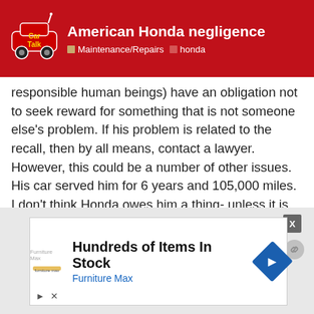American Honda negligence | Maintenance/Repairs | honda
responsible human beings) have an obligation not to seek reward for something that is not someone else's problem. If his problem is related to the recall, then by all means, contact a lawyer. However, this could be a number of other issues. His car served him for 6 years and 105,000 miles. I don't think Honda owes him a thing- unless it is truly related. I also do not think we should encourage people to promote our asininely litigious society in an effort to get away from their responsibility.
ref
[Figure (other): Advertisement banner: Hundreds of Items In Stock - Furniture Max, with blue arrow logo and close button]